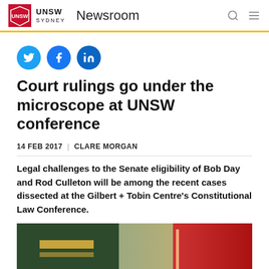UNSW Sydney Newsroom
[Figure (logo): Social sharing icons: Twitter, Facebook, LinkedIn]
Court rulings go under the microscope at UNSW conference
14 FEB 2017 | CLARE MORGAN
Legal challenges to the Senate eligibility of Bob Day and Rod Culleton will be among the recent cases dissected at the Gilbert + Tobin Centre's Constitutional Law Conference.
[Figure (photo): Close-up photograph of law book spines in green, tan, and red colors with gold lettering]